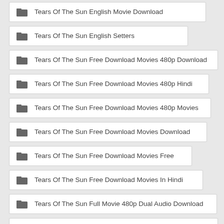Tears Of The Sun English Movie Download
Tears Of The Sun English Setters
Tears Of The Sun Free Download Movies 480p Download
Tears Of The Sun Free Download Movies 480p Hindi
Tears Of The Sun Free Download Movies 480p Movies
Tears Of The Sun Free Download Movies Download
Tears Of The Sun Free Download Movies Free
Tears Of The Sun Free Download Movies In Hindi
Tears Of The Sun Full Movie 480p Dual Audio Download
Tears Of The Sun Full Movie Download In Hindi Filmywap
Tears Of The Sun Full Movie Download In Hindi Filmyzilla
Tears Of The Sun Full Movie Dual Audio Worldfree4u